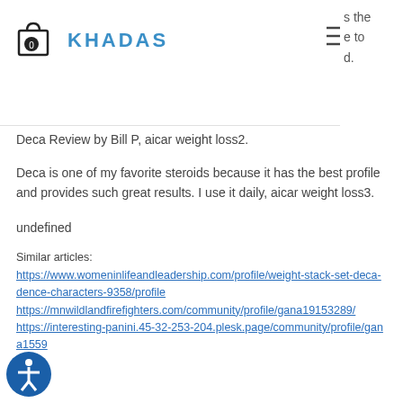Khadas — navigation bar with shopping bag icon, Khadas logo, and hamburger menu
Deca Review by Bill P, aicar weight loss2.
Deca is one of my favorite steroids because it has the best profile and provides such great results. I use it daily, aicar weight loss3.
undefined
Similar articles:
https://www.womeninlifeandleadership.com/profile/weight-stack-set-deca-dence-characters-9358/profile
https://mnwildlandfirefighters.com/community/profile/gana19153289/
https://interesting-panini.45-32-253-204.plesk.page/community/profile/gana1559